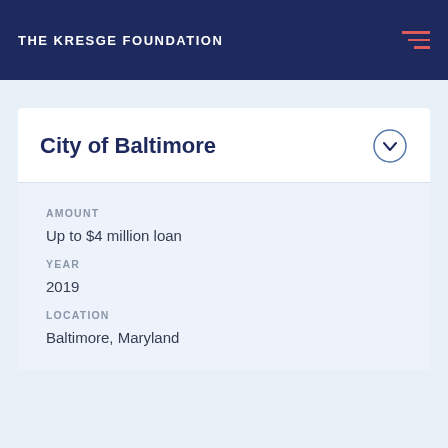THE KRESGE FOUNDATION
City of Baltimore
AMOUNT
Up to $4 million loan
YEAR
2019
LOCATION
Baltimore, Maryland